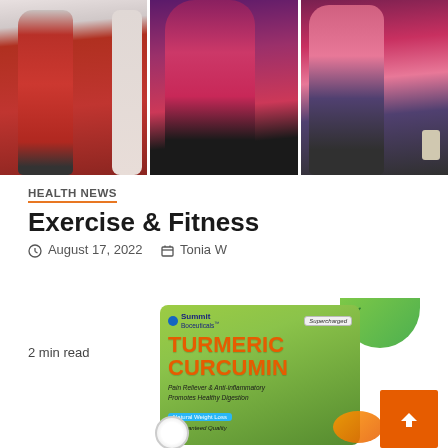[Figure (photo): Three side-profile weight loss progress photos of women in red/pink tops against dark backgrounds, shown side by side]
HEALTH NEWS
Exercise & Fitness
August 17, 2022   Tonia W
2 min read
[Figure (photo): Summit Boceuticals Turmeric Curcumin product package - green bag with orange text, Pain Reliever & Anti-inflammatory, Promotes Healthy Digestion, Natural Weight Loss, Guaranteed Quality]